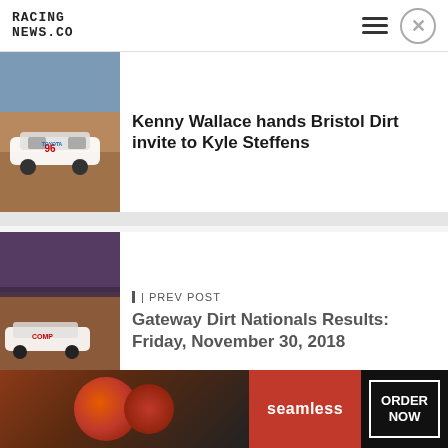RACING
NEWS.CO
[Figure (photo): Racing car #96 on a dirt track, aerial/side view]
Kenny Wallace hands Bristol Dirt invite to Kyle Steffens
[Figure (photo): Racing cars on a dirt track at a crowded venue]
| PREV POST
Gateway Dirt Nationals Results: Friday, November 30, 2018
NEXT POST |
Gateway Dirt Nationals: Saturday...
[Figure (photo): Seamless food delivery advertisement — pizza with ORDER NOW button]